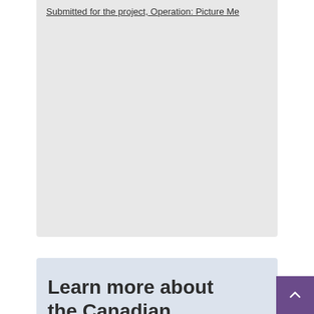[Figure (other): Gray card/panel with a link text at the top reading 'Submitted for the project, Operation: Picture Me' and a large empty gray area below]
Submitted for the project, Operation: Picture Me
Learn more about the Canadian Virtual